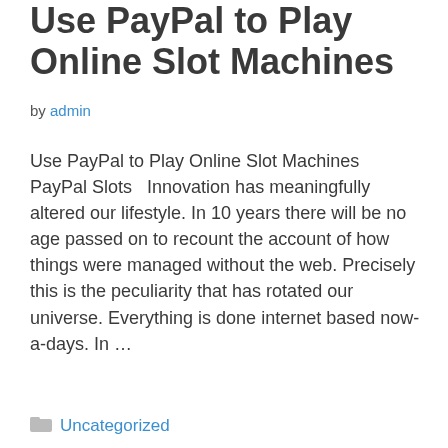Use PayPal to Play Online Slot Machines
by admin
Use PayPal to Play Online Slot Machines PayPal Slots   Innovation has meaningfully altered our lifestyle. In 10 years there will be no age passed on to recount the account of how things were managed without the web. Precisely this is the peculiarity that has rotated our universe. Everything is done internet based now-a-days. In …
Read more
Uncategorized